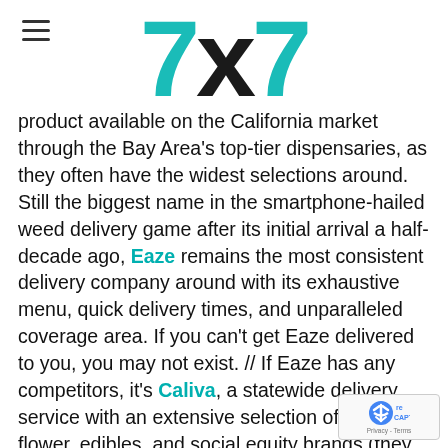7x7 (logo)
product available on the California market through the Bay Area's top-tier dispensaries, as they often have the widest selections around. Still the biggest name in the smartphone-hailed weed delivery game after its initial arrival a half-decade ago, Eaze remains the most consistent delivery company around with its exhaustive menu, quick delivery times, and unparalleled coverage area. If you can't get Eaze delivered to you, you may not exist. // If Eaze has any competitors, it's Caliva, a statewide delivery service with an extensive selection of sungrown flower, edibles, and social equity brands (they also just opened a deli-themed dispensary in SoCal, if you ever make the trip south). Always whimsical and ne stuffy, their colorfully packaged sungrown flow topos—though they also carry a wide range of